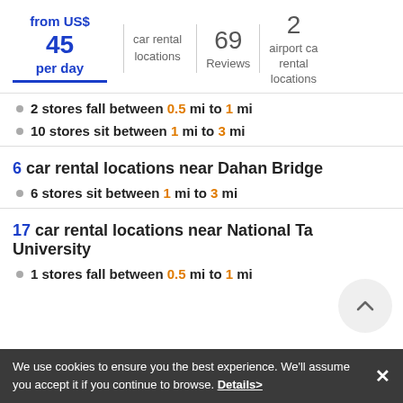from US$ 45 per day
car rental locations
69 Reviews
2 airport car rental locations
2 stores fall between 0.5 mi to 1 mi
10 stores sit between 1 mi to 3 mi
6 car rental locations near Dahan Bridge
6 stores sit between 1 mi to 3 mi
17 car rental locations near National Ta University
1 stores fall between 0.5 mi to 1 mi
We use cookies to ensure you the best experience. We'll assume you accept it if you continue to browse. Details>